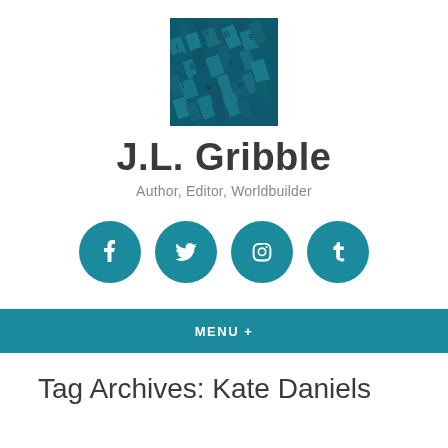[Figure (photo): Square photo of metal letterpress type blocks in dark teal/blue tones]
J.L. Gribble
Author, Editor, Worldbuilder
[Figure (infographic): Four teal circular social media icons: Facebook, Twitter, Instagram, Tumblr]
MENU +
Tag Archives: Kate Daniels